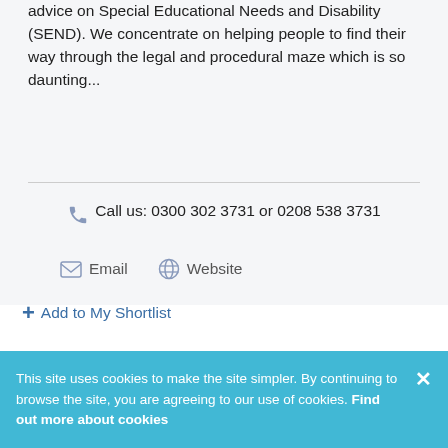advice on Special Educational Needs and Disability (SEND). We concentrate on helping people to find their way through the legal and procedural maze which is so daunting...
Call us: 0300 302 3731 or 0208 538 3731
Email  Website
+ Add to My Shortlist
This site uses cookies to make the site simpler. By continuing to browse the site, you are agreeing to our use of cookies. Find out more about cookies